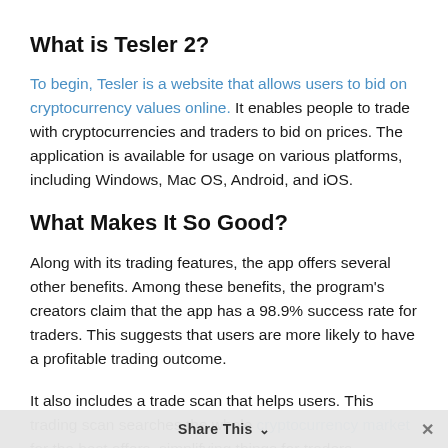What is Tesler 2?
To begin, Tesler is a website that allows users to bid on cryptocurrency values online. It enables people to trade with cryptocurrencies and traders to bid on prices. The application is available for usage on various platforms, including Windows, Mac OS, Android, and iOS.
What Makes It So Good?
Along with its trading features, the app offers several other benefits. Among these benefits, the program's creators claim that the app has a 98.9% success rate for traders. This suggests that users are more likely to have a profitable trading outcome.
It also includes a trade scan that helps users. This trading scan searches the whole cryptocurrency market for the best offers, simplifying things for traders, especially those who
Share This